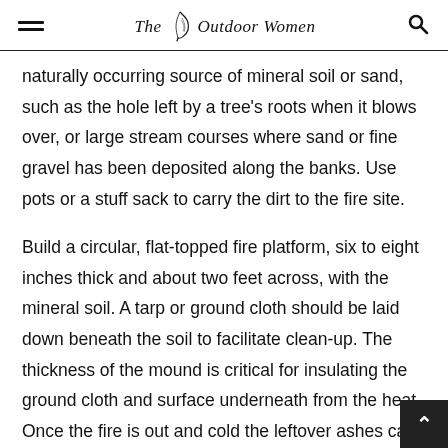The Outdoor Women
naturally occurring source of mineral soil or sand, such as the hole left by a tree's roots when it blows over, or large stream courses where sand or fine gravel has been deposited along the banks. Use pots or a stuff sack to carry the dirt to the fire site.
Build a circular, flat-topped fire platform, six to eight inches thick and about two feet across, with the mineral soil. A tarp or ground cloth should be laid down beneath the soil to facilitate clean-up. The thickness of the mound is critical for insulating the ground cloth and surface underneath from the heat. Once the fire is out and cold the leftover ashes can be scattered widely and the mineral